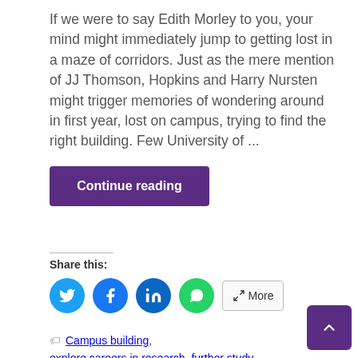If we were to say Edith Morley to you, your mind might immediately jump to getting lost in a maze of corridors. Just as the mere mention of JJ Thomson, Hopkins and Harry Nursten might trigger memories of wondering around in first year, lost on campus, trying to find the right building. Few University of ...
Continue reading
Share this:
Campus building, explore careers in research, further study, masters, notable alumni, PhD, research, research careers, researchers